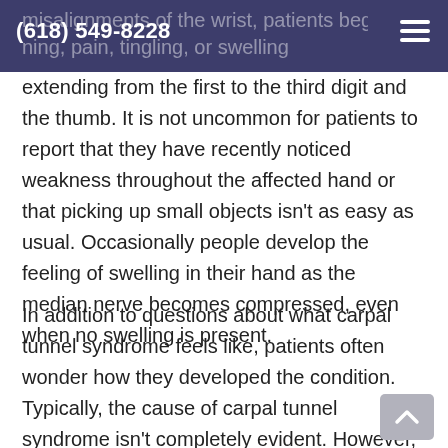(618) 549-8228
misalignments of the wrist, patients begin to feel numbing, pain, tingling, or swelling extending from the first to the third digit and the thumb. It is not uncommon for patients to report that they have recently noticed weakness throughout the affected hand or that picking up small objects isn't as easy as usual. Occasionally people develop the feeling of swelling in their hand as the median nerve becomes compressed, even when no swelling is present.
In addition to questions about what carpal tunnel syndrome feels like, patients often wonder how they developed the condition. Typically, the cause of carpal tunnel syndrome isn't completely evident. However, some patients are able to recall an injury to the wrist that caused the symptoms to develop shortly after. Certain occupations have also been